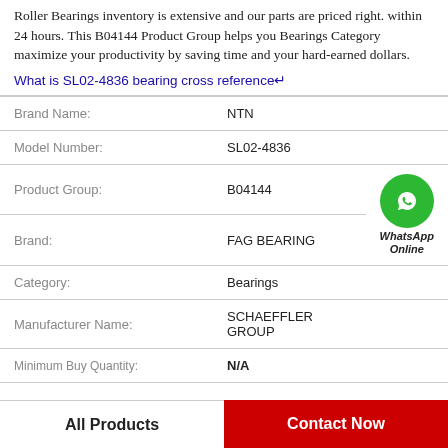Roller Bearings inventory is extensive and our parts are priced right. within 24 hours. This B04144 Product Group helps you Bearings Category maximize your productivity by saving time and your hard-earned dollars.
What is SL02-4836 bearing cross reference↵
| Brand Name: | NTN |
| Model Number: | SL02-4836 |
| Product Group: | B04144 |
| Brand: | FAG BEARING |
| Category: | Bearings |
| Manufacturer Name: | SCHAEFFLER GROUP |
| Minimum Buy Quantity: | N/A |
All Products
Contact Now